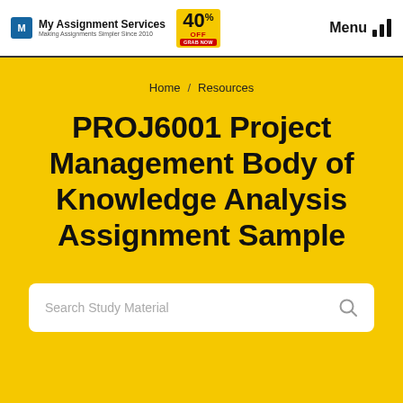[Figure (logo): My Assignment Services logo with 'M' icon, tagline 'Making Assignments Simpler Since 2010', and 40% OFF badge]
Menu
Home / Resources
PROJ6001 Project Management Body of Knowledge Analysis Assignment Sample
Search Study Material